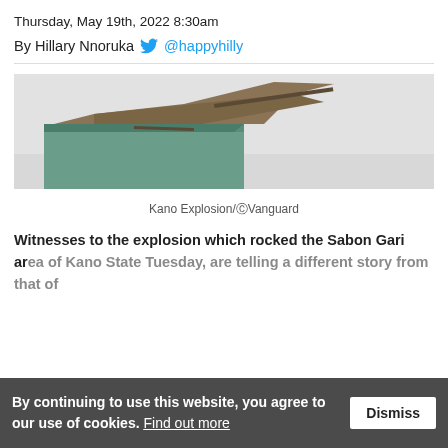Thursday, May 19th, 2022 8:30am
By Hillary Nnoruka @happyhilly
[Figure (photo): Photo of a damaged building structure after Kano explosion, showing collapsed roof and debris]
Kano Explosion/©Vanguard
Witnesses to the explosion which rocked the Sabon Gari area of Kano State Tuesday, are telling a different story from that of
By continuing to use this website, you agree to our use of cookies. Find out more  Dismiss